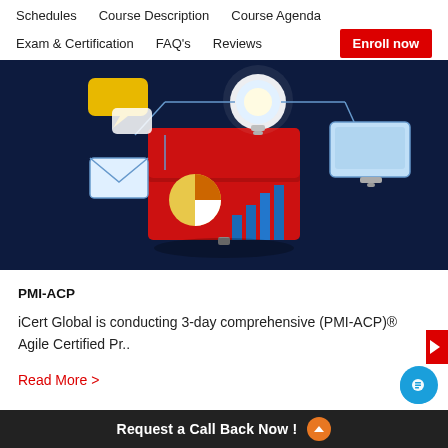Schedules   Course Description   Course Agenda   Exam & Certification   FAQ's   Reviews
[Figure (illustration): Dark navy blue background with an illustration of a red toolbox open, containing a pie chart, bar chart, and a glowing lightbulb above. Connected with lines to icons: speech bubble, envelope/email, and a monitor/screen. Represents business analytics and digital tools.]
PMI-ACP
iCert Global is conducting 3-day comprehensive (PMI-ACP)® Agile Certified Pr..
Read More >
Request a Call Back Now !